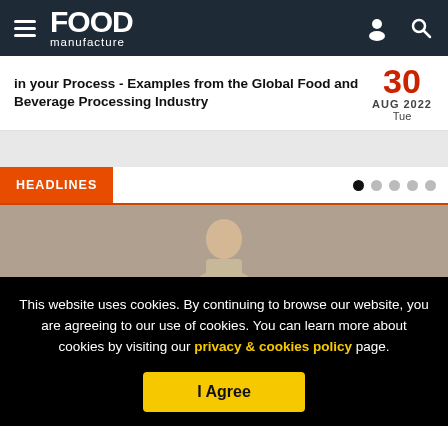FOOD manufacture
in your Process - Examples from the Global Food and Beverage Processing Industry
30 AUG 2022 Tue
HEADLINES
[Figure (photo): Partial photo of a person (man) shown from shoulders up with beige/tan background]
This website uses cookies. By continuing to browse our website, you are agreeing to our use of cookies. You can learn more about cookies by visiting our privacy & cookies policy page.
I Agree